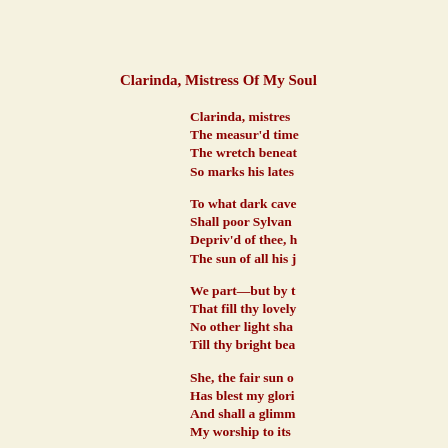Clarinda, Mistress Of My Soul
Clarinda, mistres
The measur'd time
The wretch beneat
So marks his lates
To what dark cave
Shall poor Sylvan
Depriv'd of thee, h
The sun of all his j
We part—but by t
That fill thy lovely
No other light sha
Till thy bright bea
She, the fair sun o
Has blest my glori
And shall a glimm
My worship to its